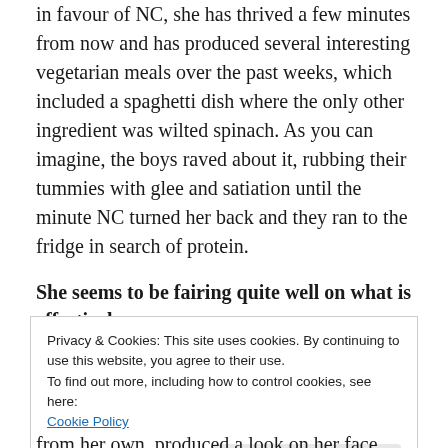in favour of NC, she has thrived a few minutes from now and has produced several interesting vegetarian meals over the past weeks, which included a spaghetti dish where the only other ingredient was wilted spinach. As you can imagine, the boys raved about it, rubbing their tummies with glee and satiation until the minute NC turned her back and they ran to the fridge in search of protein.
She seems to be fairing quite well on what is effectively
Privacy & Cookies: This site uses cookies. By continuing to use this website, you agree to their use.
To find out more, including how to control cookies, see here:
Cookie Policy

Close and accept
from her own, produced a look on her face akin to that